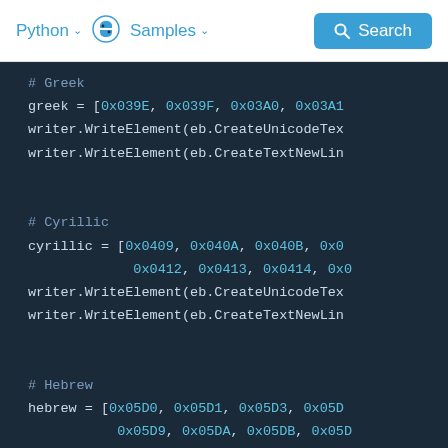Python ∨   🐍   Samples ∨   Search
[Figure (screenshot): Python code editor showing Unicode character arrays for Greek, Cyrillic, and Hebrew scripts with WriteElement calls]
# Greek
greek = [0x039E, 0x039F, 0x03A0, 0x03A1
writer.WriteElement(eb.CreateUnicodeTex
writer.WriteElement(eb.CreateTextNewLin

# Cyrillic
cyrillic = [0x0409, 0x040A, 0x040B, 0x0
             0x0412, 0x0413, 0x0414, 0x0
writer.WriteElement(eb.CreateUnicodeTex
writer.WriteElement(eb.CreateTextNewLin

# Hebrew
hebrew = [0x05D0, 0x05D1, 0x05D3, 0x05D
           0x05D9, 0x05DA, 0x05DB, 0x05D
writer.WriteElement(eb.CreateUnicodeTex